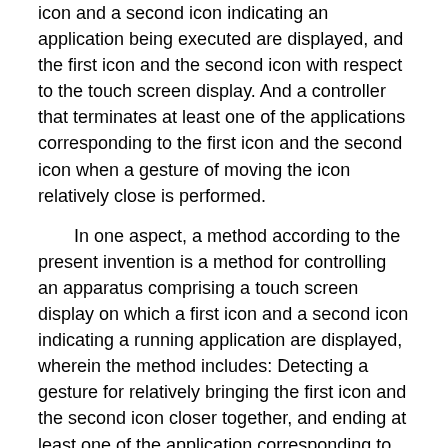icon and a second icon indicating an application being executed are displayed, and the first icon and the second icon with respect to the touch screen display. And a controller that terminates at least one of the applications corresponding to the first icon and the second icon when a gesture of moving the icon relatively close is performed.
In one aspect, a method according to the present invention is a method for controlling an apparatus comprising a touch screen display on which a first icon and a second icon indicating a running application are displayed, wherein the method includes: Detecting a gesture for relatively bringing the first icon and the second icon closer together, and ending at least one of the application corresponding to the first icon and the second icon.
In one aspect, a program according to the present invention is an apparatus including a touch screen display on which a first icon and a second icon indicating an application being executed are displayed. The step of detecting a gesture that brings the second icon relatively close to each other and the step of ending at least one of the applications corresponding to the first icon and the